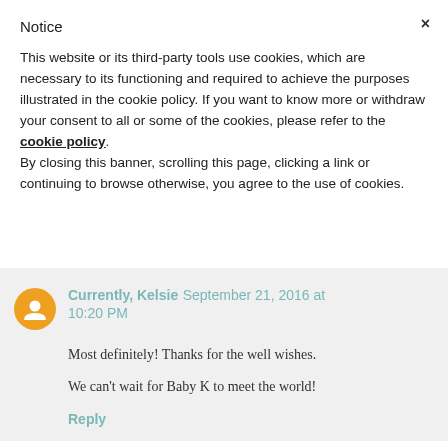Notice
This website or its third-party tools use cookies, which are necessary to its functioning and required to achieve the purposes illustrated in the cookie policy. If you want to know more or withdraw your consent to all or some of the cookies, please refer to the cookie policy.
By closing this banner, scrolling this page, clicking a link or continuing to browse otherwise, you agree to the use of cookies.
Currently, Kelsie September 21, 2016 at 10:20 PM
Most definitely! Thanks for the well wishes.

We can't wait for Baby K to meet the world!
Reply